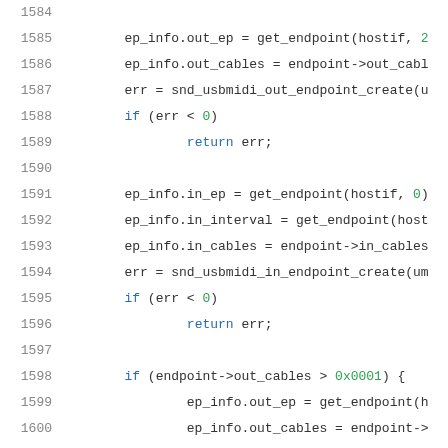Source code listing, lines 1584-1605, C kernel USB MIDI driver code